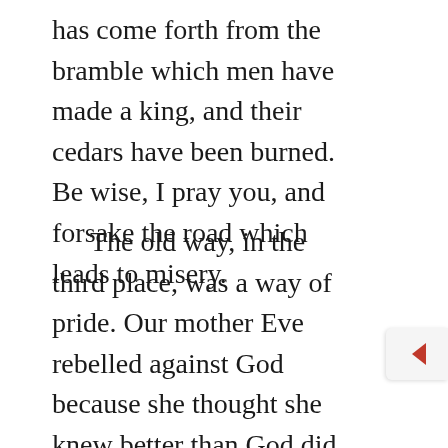has come forth from the bramble which men have made a king, and their cedars have been burned. Be wise, I pray you, and forsake the road which leads to misery.
The old way, in the third place, was a way of pride. Our mother Eve rebelled against God because she thought she knew better than God did. She would be as a god, that was her ambition, and the same thought had entered into her husband's mind: he was not content to be what his Maker would have him, he would if he could leap into the very throne of Deity.